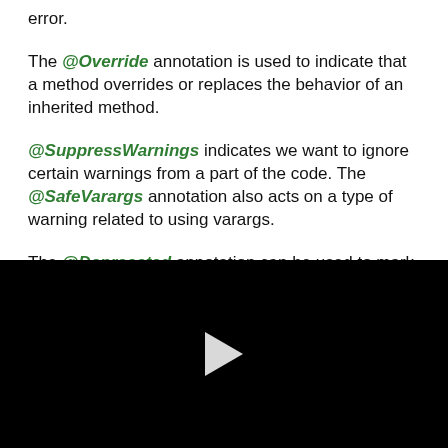error.
The @Override annotation is used to indicate that a method overrides or replaces the behavior of an inherited method.
@SuppressWarnings indicates we want to ignore certain warnings from a part of the code. The @SafeVarargs annotation also acts on a type of warning related to using varargs.
The @Deprecated annotation can be used to mark an API as not intended for use anymore.
[Figure (other): Black video player area with a white play button triangle in the center]